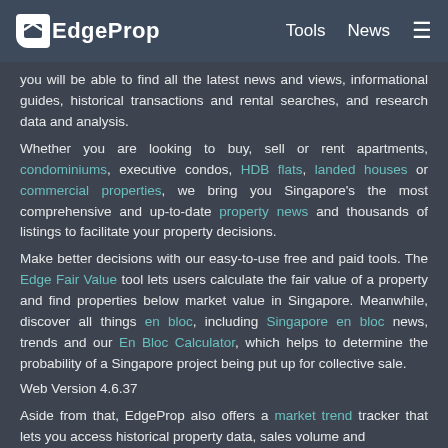EdgeProp | Tools | News
you will be able to find all the latest news and views, informational guides, historical transactions and rental searches, and research data and analysis.
Whether you are looking to buy, sell or rent apartments, condominiums, executive condos, HDB flats, landed houses or commercial properties, we bring you Singapore's the most comprehensive and up-to-date property news and thousands of listings to facilitate your property decisions.
Make better decisions with our easy-to-use free and paid tools. The Edge Fair Value tool lets users calculate the fair value of a property and find properties below market value in Singapore. Meanwhile, discover all things en bloc, including Singapore en bloc news, trends and our En Bloc Calculator, which helps to determine the probability of a Singapore project being put up for collective sale.
Web Version 4.6.37
Aside from that, EdgeProp also offers a market trend tracker that lets you access historical property data, sales volume and